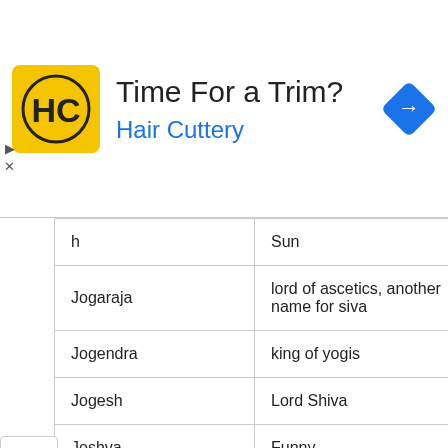[Figure (other): Advertisement banner for Hair Cuttery with logo, headline 'Time For a Trim?' and brand name 'Hair Cuttery' in blue, plus a blue navigation icon on the right.]
| Name | Meaning |  |
| --- | --- | --- |
| h | Sun |  |
| Jogaraja | lord of ascetics, another name for siva |  |
| Jogendra | king of yogis |  |
| Jogesh | Lord Shiva |  |
| Joshva | Funny |  |
| Jothiraj | King of Light, Fire |  |
| Jugala | pair |  |
| Jugnu | glow worm, firefly, ornament |  |
| ... | ... |  |